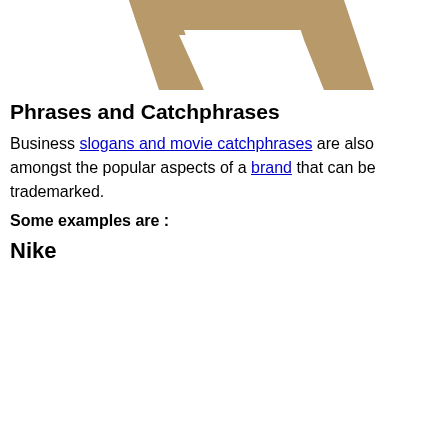[Figure (logo): Partial view of a gold/tan colored logo or decorative letterform at the top of the page]
Phrases and Catchphrases
Business slogans and movie catchphrases are also amongst the popular aspects of a brand that can be trademarked.
Some examples are :
Nike